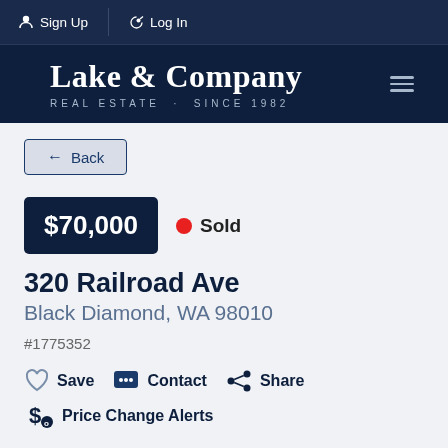Sign Up  Log In
[Figure (logo): Lake & Company Real Estate Since 1982 logo on dark navy background]
← Back
$70,000  ● Sold
320 Railroad Ave
Black Diamond, WA 98010
#1775352
♡ Save  ✉ Contact  ⬤ Share
$ Price Change Alerts